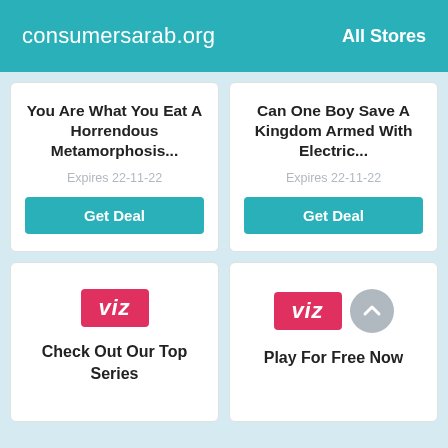consumersarab.org    All Stores
You Are What You Eat A Horrendous Metamorphosis...
Expires 22-11-22
Get Deal
Can One Boy Save A Kingdom Armed With Electric...
Expires 22-11-22
Get Deal
[Figure (logo): Viz logo — red/crimson rectangle with white italic 'viz' text]
Check Out Our Top Series
[Figure (logo): Viz logo — red/crimson rectangle with white italic 'viz' text]
Play For Free Now